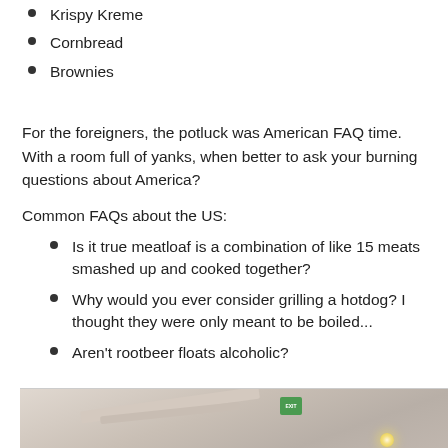Krispy Kreme
Cornbread
Brownies
For the foreigners, the potluck was American FAQ time. With a room full of yanks, when better to ask your burning questions about America?
Common FAQs about the US:
Is it true meatloaf is a combination of like 15 meats smashed up and cooked together?
Why would you ever consider grilling a hotdog? I thought they were only meant to be boiled...
Aren't rootbeer floats alcoholic?
[Figure (photo): Interior photo showing ceiling with beams and an exit sign, with a light visible in the lower right area.]